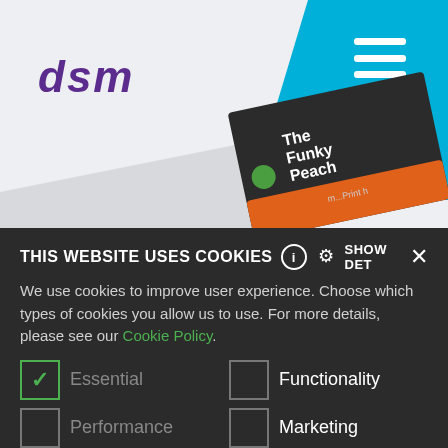[Figure (screenshot): DSM website header with purple DSM logo on light gray background and cyan navigation block with hamburger menu icon in top right]
[Figure (photo): Business card product image showing 'The Funky Peach' branding on dark background, partially visible in lower right]
THIS WEBSITE USES COOKIES  ⓘ  ⚙ SHOW DET  ×
We use cookies to improve user experience. Choose which types of cookies you allow us to use. For more details, please see our Cookie Policy.
✓ Essential    □ Functionality
□ Performance    □ Marketing